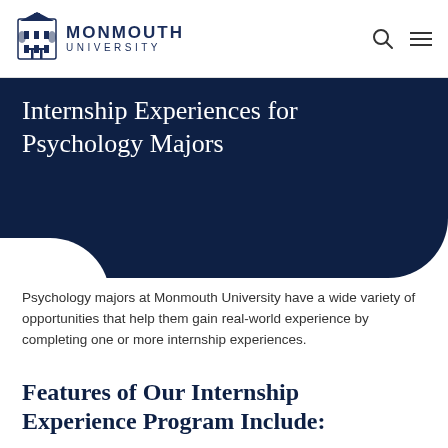[Figure (logo): Monmouth University logo with building icon and text MONMOUTH UNIVERSITY]
Internship Experiences for Psychology Majors
Psychology majors at Monmouth University have a wide variety of opportunities that help them gain real-world experience by completing one or more internship experiences.
Features of Our Internship Experience Program Include: